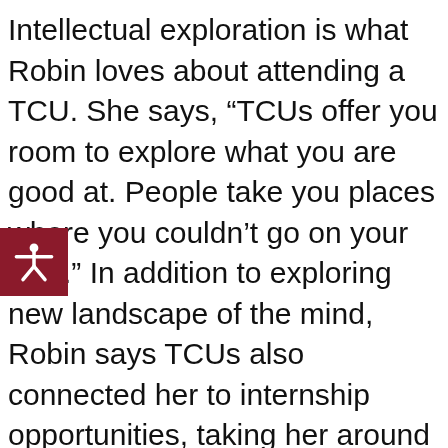Intellectual exploration is what Robin loves about attending a TCU. She says, “TCUs offer you room to explore what you are good at. People take you places where you couldn’t go on your own.” In addition to exploring new landscape of the mind, Robin says TCUs also connected her to internship opportunities, taking her around the globe. She worked at an internship in New Zealand doing biodiversity research, and she was feeling a little homesick and disconnected from her school and community, so she logged on the Internet to feel more connected.

While on her school’s bulletin board, she saw an ad for Roadtrip Nation, a national television program